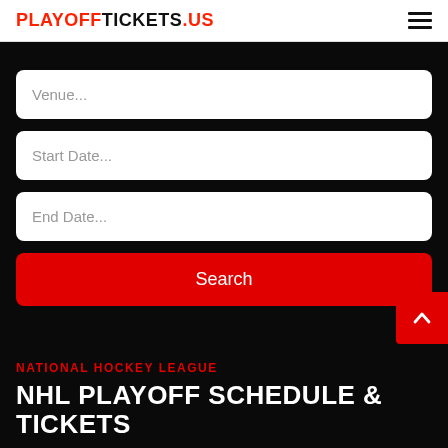PLAYOFFTICKETS.US
Venue...
Start Date...
End Date...
Search
NATIONAL HOCKEY LEAGUE
NHL PLAYOFF SCHEDULE & TICKETS